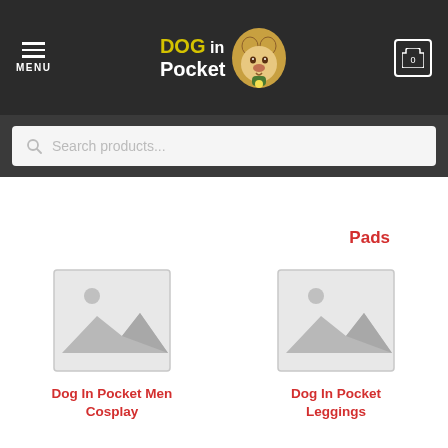MENU | DOG in Pocket | 0
Search products...
Pads
[Figure (illustration): Placeholder image for Dog In Pocket Men Cosplay product]
Dog In Pocket Men Cosplay
[Figure (illustration): Placeholder image for Dog In Pocket Leggings product]
Dog In Pocket Leggings